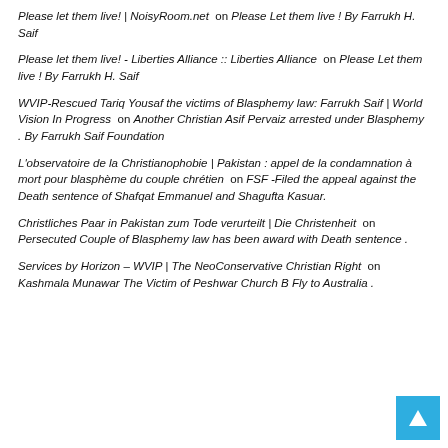Please let them live! | NoisyRoom.net on Please Let them live ! By Farrukh H. Saif
Please let them live! - Liberties Alliance :: Liberties Alliance on Please Let them live ! By Farrukh H. Saif
WVIP-Rescued Tariq Yousaf the victims of Blasphemy law: Farrukh Saif | World Vision In Progress on Another Christian Asif Pervaiz arrested under Blasphemy . By Farrukh Saif Foundation
L'observatoire de la Christianophobie | Pakistan : appel de la condamnation à mort pour blasphème du couple chrétien on FSF -Filed the appeal against the Death sentence of Shafqat Emmanuel and Shagufta Kasuar.
Christliches Paar in Pakistan zum Tode verurteilt | Die Christenheit on Persecuted Couple of Blasphemy law has been award with Death sentence .
Services by Horizon – WVIP | The NeoConservative Christian Right on Kashmala Munawar The Victim of Peshwar Church B Fly to Australia .